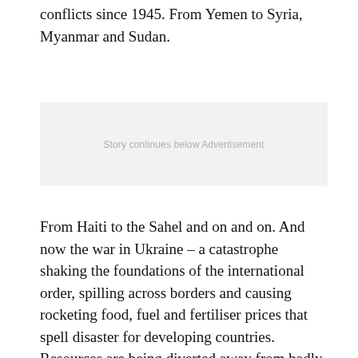conflicts since 1945. From Yemen to Syria, Myanmar and Sudan.
[Figure (other): Advertisement placeholder box with text 'Story continues below Advertisement']
From Haiti to the Sahel and on and on. And now the war in Ukraine – a catastrophe shaking the foundations of the international order, spilling across borders and causing rocketing food, fuel and fertiliser prices that spell disaster for developing countries. Resources are being diverted away from badly needed support to address the sharp increases in hunger and poverty resulting from Covid-19.